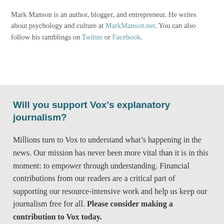Mark Manson is an author, blogger, and entrepreneur. He writes about psychology and culture at MarkManson.net. You can also follow his ramblings on Twitter or Facebook.
Will you support Vox's explanatory journalism?
Millions turn to Vox to understand what's happening in the news. Our mission has never been more vital than it is in this moment: to empower through understanding. Financial contributions from our readers are a critical part of supporting our resource-intensive work and help us keep our journalism free for all. Please consider making a contribution to Vox today.